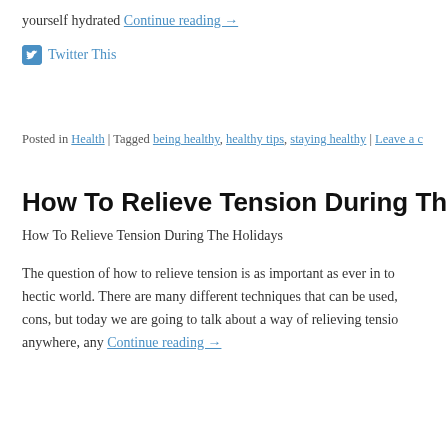yourself hydrated Continue reading →
Twitter This
Posted in Health | Tagged being healthy, healthy tips, staying healthy | Leave a c…
How To Relieve Tension During The Holiday…
How To Relieve Tension During The Holidays
The question of how to relieve tension is as important as ever in to… hectic world. There are many different techniques that can be used, … cons, but today we are going to talk about a way of relieving tensio… anywhere, any Continue reading →